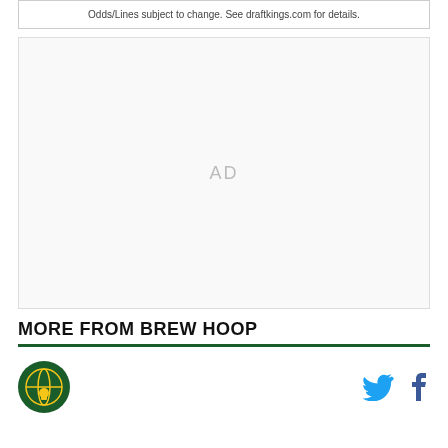Odds/Lines subject to change. See draftkings.com for details.
[Figure (other): Advertisement placeholder area with 'AD' label in center]
MORE FROM BREW HOOP
[Figure (logo): Brew Hoop site logo - circular green emblem with basketball/hoop icon]
[Figure (other): Social media icons: Twitter bird icon and Facebook 'f' icon]